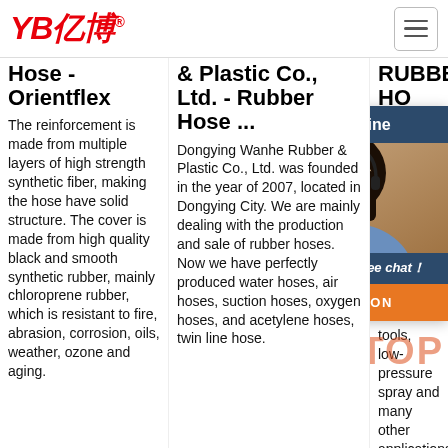[Figure (logo): YB亿博 logo in red italic text with registered trademark symbol]
[Figure (other): Hamburger menu button (three horizontal lines in a bordered box)]
Hose - Orientflex
The reinforcement is made from multiple layers of high strength synthetic fiber, making the hose have solid structure. The cover is made from high quality black and smooth synthetic rubber, mainly chloroprene rubber, which is resistant to fire, abrasion, corrosion, oils, weather, ozone and aging.
& Plastic Co., Ltd. - Rubber Hose ...
Dongying Wanhe Rubber & Plastic Co., Ltd. was founded in the year of 2007, located in Dongying City. We are mainly dealing with the production and sale of rubber hoses. Now we have perfectly produced water hoses, air hoses, suction hoses, oxygen hoses, and acetylene hoses, twin line hose.
RUBBER HO
202 28u PUI RUI 300 App pre mu for i ser line tools, low-pressure spray and many other applications where oil resistance is needed. Non conductive, minimum electrical
[Figure (infographic): 24/7 Online customer service chat widget with photo of female customer service representative wearing headset, 'Click here for free chat!' text, and orange QUOTATION button]